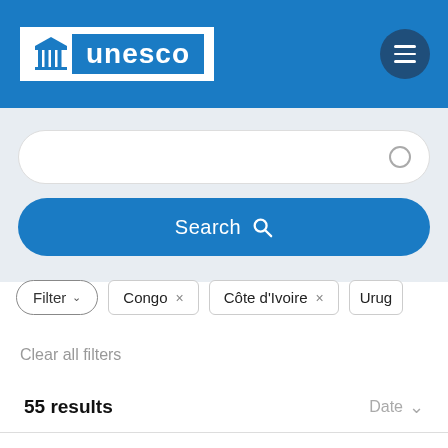[Figure (logo): UNESCO logo with temple icon and blue 'unesco' text on white and blue background]
[Figure (screenshot): Search bar with rounded white input field and a blue search button labeled 'Search' with magnifying glass icon]
Filter
Congo ×
Côte d'Ivoire ×
Urug
Clear all filters
55 results
Date